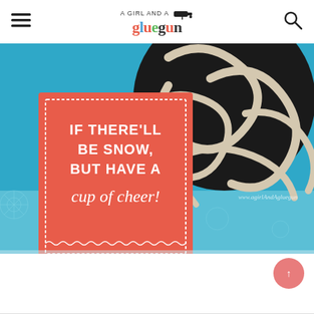A GIRL AND A gluegun
[Figure (photo): Close-up photo of a decorative red tag card with white text reading 'IF THERE'LL BE SNOW, BUT HAVE A cup of cheer!' attached to a black and white swirl patterned mug on a bright blue surface with snowflake designs]
[Figure (other): Coral/pink circular scroll-to-top button with upward arrow in bottom right corner]